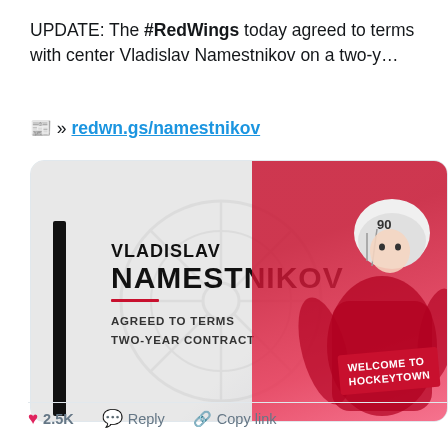UPDATE: The #RedWings today agreed to terms with center Vladislav Namestnikov on a two-year contract.
📰 » redwn.gs/namestnikov
[Figure (photo): Detroit Red Wings official signing announcement card for Vladislav Namestnikov. Shows player name, 'AGREED TO TERMS TWO-YEAR CONTRACT' text, a red-tinted player photo wearing #90 helmet, and a 'WELCOME TO HOCKEYTOWN' tag.]
4:00 PM · Oct 11, 2020
2.5K   Reply   Copy link